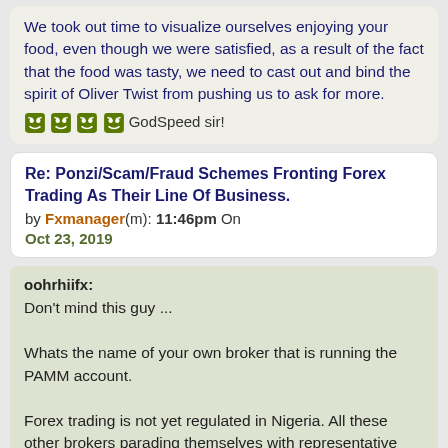We took out time to visualize ourselves enjoying your food, even though we were satisfied, as a result of the fact that the food was tasty, we need to cast out and bind the spirit of Oliver Twist from pushing us to ask for more.
😅😅😅😅 GodSpeed sir!
Re: Ponzi/Scam/Fraud Schemes Fronting Forex Trading As Their Line Of Business. by Fxmanager(m): 11:46pm On Oct 23, 2019
oohrhiifx: Don't mind this guy ...

Whats the name of your own broker that is running the PAMM account.

Forex trading is not yet regulated in Nigeria. All these other brokers parading themselves with representative offices in Nigeria are not Regulated.